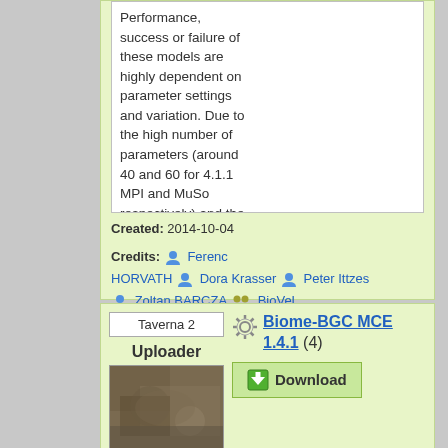Performance, success or failure of these models are highly dependent on parameter settings and variation. Due to the high number of parameters (around 40 and 60 for 4.1.1 MPI and MuSo respectively) and the non-line...
Created: 2014-10-04
Credits: Ferenc HORVATH  Dora Krasser  Peter Ittzes  Zoltan BARCZA  BioVeL
Taverna 2
Uploader
Biome-BGC MCE 1.4.1 (4)
Download